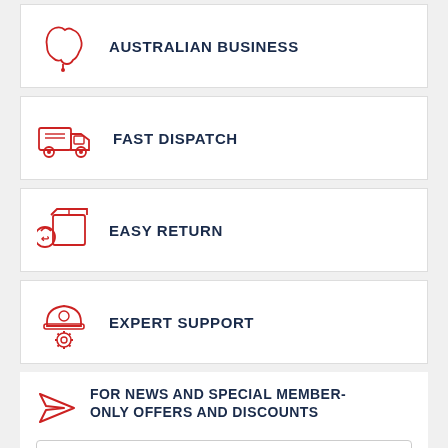[Figure (illustration): Red outline icon of Australia map with a location pin]
AUSTRALIAN BUSINESS
[Figure (illustration): Red outline icon of a delivery truck]
FAST DISPATCH
[Figure (illustration): Red outline icon of a box with a return/refresh symbol]
EASY RETURN
[Figure (illustration): Red outline icon of a hard hat with a gear/cog]
EXPERT SUPPORT
[Figure (illustration): Red outline paper airplane / send icon]
FOR NEWS AND SPECIAL MEMBER-ONLY OFFERS AND DISCOUNTS
Enter Your Email Address
SUBSCRIBE